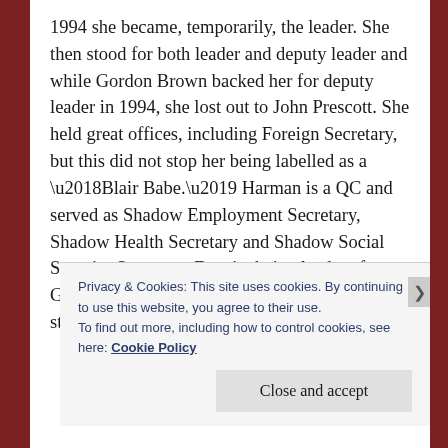1994 she became, temporarily, the leader. She then stood for both leader and deputy leader and while Gordon Brown backed her for deputy leader in 1994, she lost out to John Prescott. She held great offices, including Foreign Secretary, but this did not stop her being labelled as a ‘Blair Babe.’ Harman is a QC and served as Shadow Employment Secretary, Shadow Health Secretary and Shadow Social Security Secretary. Despite being leader after Gordon Brown’s resignation she never stood for leader.
Privacy & Cookies: This site uses cookies. By continuing to use this website, you agree to their use.
To find out more, including how to control cookies, see here: Cookie Policy